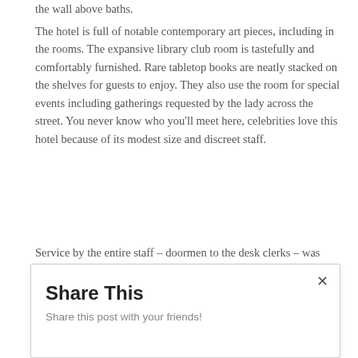the wall above baths.
The hotel is full of notable contemporary art pieces, including in the rooms. The expansive library club room is tastefully and comfortably furnished. Rare tabletop books are neatly stacked on the shelves for guests to enjoy. They also use the room for special events including gatherings requested by the lady across the street. You never know who you'll meet here, celebrities love this hotel because of its modest size and discreet staff.
Service by the entire staff – doormen to the desk clerks – was world-class. For example, we asked for suggestions for a nearby restaurant that was casual and reasonable
Share This
Share this post with your friends!